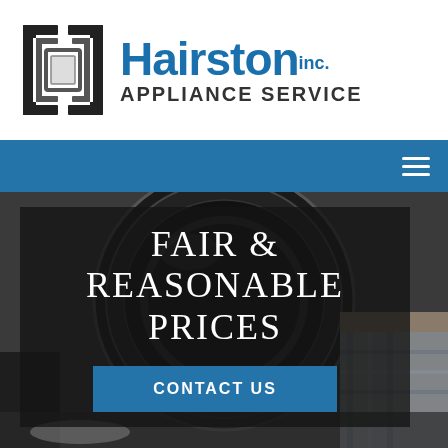[Figure (logo): Hairston Appliance Service logo with stylized H appliance graphic and blue text reading Hairston inc. APPLIANCE SERVICE]
[Figure (screenshot): Blue navigation bar with hamburger menu icon on the right]
[Figure (photo): Background photo of washing machine drum with a technician]
FAIR & REASONABLE PRICES
CONTACT US